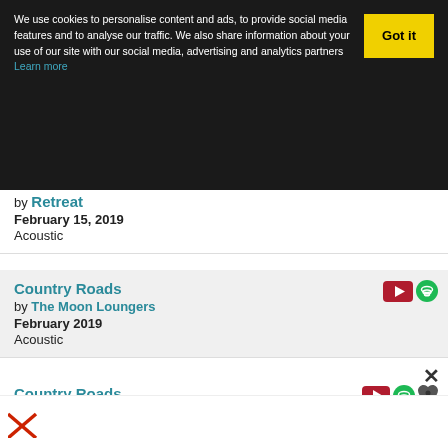We use cookies to personalise content and ads, to provide social media features and to analyse our traffic. We also share information about your use of our site with our social media, advertising and analytics partners Learn more
by Retreat
February 15, 2019
Acoustic
Country Roads
by The Moon Loungers
February 2019
Acoustic
Country Roads
by Caleb Hyles
April 6, 2019
Take Me Home, Country Roads (Fallout)
by Chase Holfelder